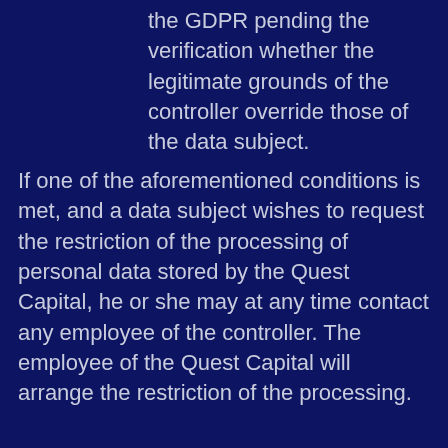the GDPR pending the verification whether the legitimate grounds of the controller override those of the data subject.
If one of the aforementioned conditions is met, and a data subject wishes to request the restriction of the processing of personal data stored by the Quest Capital, he or she may at any time contact any employee of the controller. The employee of the Quest Capital will arrange the restriction of the processing.